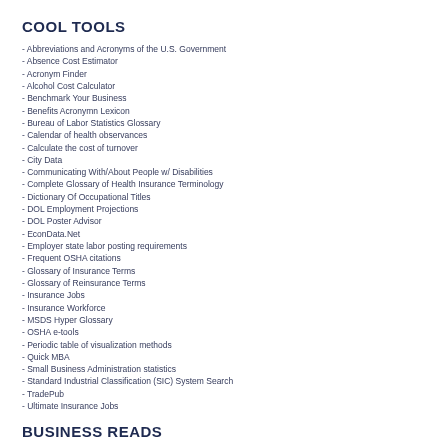COOL TOOLS
- Abbreviations and Acronyms of the U.S. Government
- Absence Cost Estimator
- Acronym Finder
- Alcohol Cost Calculator
- Benchmark Your Business
- Benefits Acronymn Lexicon
- Bureau of Labor Statistics Glossary
- Calendar of health observances
- Calculate the cost of turnover
- City Data
- Communicating With/About People w/ Disabilities
- Complete Glossary of Health Insurance Terminology
- Dictionary Of Occupational Titles
- DOL Employment Projections
- DOL Poster Advisor
- EconData.Net
- Employer state labor posting requirements
- Frequent OSHA citations
- Glossary of Insurance Terms
- Glossary of Reinsurance Terms
- Insurance Jobs
- Insurance Workforce
- MSDS Hyper Glossary
- OSHA e-tools
- Periodic table of visualization methods
- Quick MBA
- Small Business Administration statistics
- Standard Industrial Classification (SIC) System Search
- TradePub
- Ultimate Insurance Jobs
BUSINESS READS